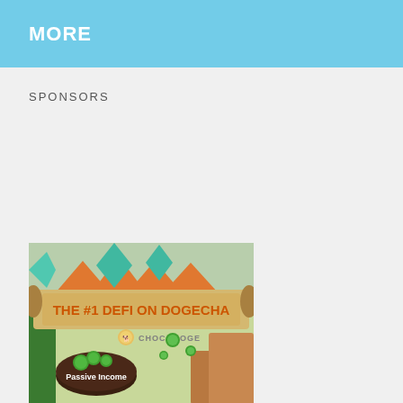MORE
SPONSORS
[Figure (illustration): ChocoDoge DeFi sponsor banner showing 'THE #1 DEFI ON DOGECHA' with ChocoDoge logo, a chocolate coin with green coins/sprinkles on top labeled 'Passive Income', cartoon adventure-themed background with green and orange elements]